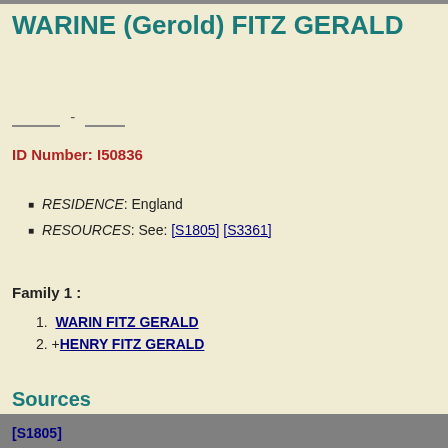WARINE (Gerold) FITZ GERALD
____  -  ____
ID Number: I50836
RESIDENCE: England
RESOURCES: See: [S1805] [S3361]
Family 1 :
1.  WARIN FITZ GERALD
2. +HENRY FITZ GERALD
Sources
[S1805]